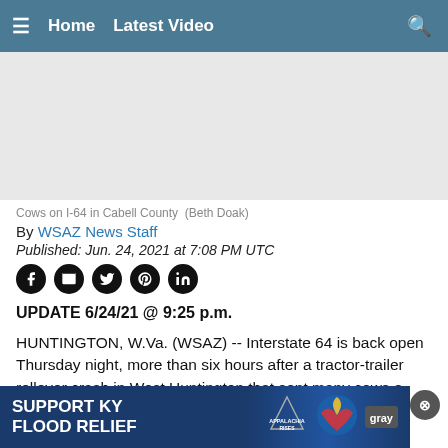≡  Home  Latest Video  🔍
[Figure (photo): Cows on I-64 in Cabell County photo placeholder area]
Cows on I-64 in Cabell County  (Beth Doak)
By WSAZ News Staff
Published: Jun. 24, 2021 at 7:08 PM UTC
UPDATE 6/24/21 @ 9:25 p.m.
HUNTINGTON, W.Va. (WSAZ) -- Interstate 64 is back open Thursday night, more than six hours after a tractor-trailer rollover crash in West Huntington that sent many cows o...
[Figure (other): Advertisement banner: SUPPORT KY FLOOD RELIEF - Appalachia Rises - Gray logo]